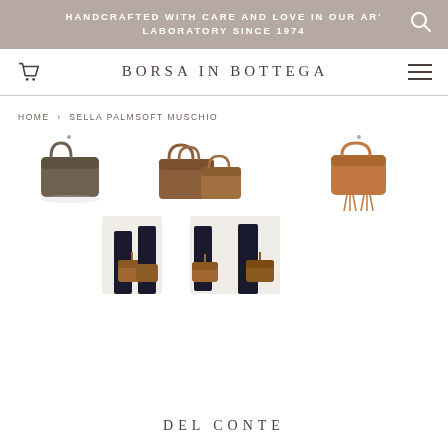HANDCRAFTED WITH CARE AND LOVE IN OUR AR' LABORATORY SINCE 1974
BORSA IN BOTTEGA
HOME › SELLA PALMSOFT MUSCHIO
[Figure (photo): Six product thumbnail images of leather handbags in various styles and colors, arranged in two rows of three, showing the Sella Palmsoft Muschio and other bags from the Del Conte collection.]
DEL CONTE